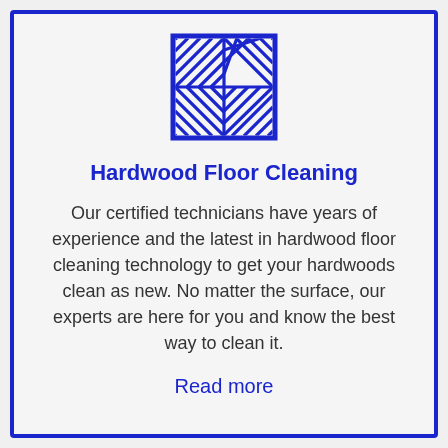[Figure (logo): A square icon with a blue border containing a diagonal herringbone/parquet hardwood floor pattern drawn in blue lines on a light background.]
Hardwood Floor Cleaning
Our certified technicians have years of experience and the latest in hardwood floor cleaning technology to get your hardwoods clean as new. No matter the surface, our experts are here for you and know the best way to clean it.
Read more